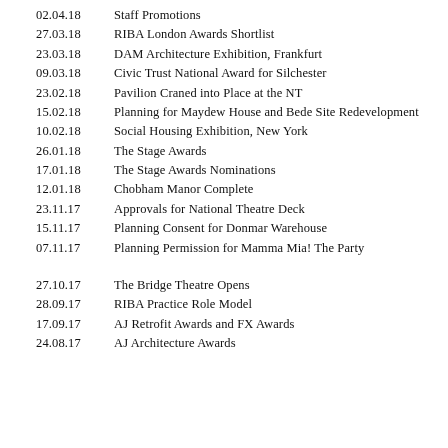02.04.18   Staff Promotions
27.03.18   RIBA London Awards Shortlist
23.03.18   DAM Architecture Exhibition, Frankfurt
09.03.18   Civic Trust National Award for Silchester
23.02.18   Pavilion Craned into Place at the NT
15.02.18   Planning for Maydew House and Bede Site Redevelopment
10.02.18   Social Housing Exhibition, New York
26.01.18   The Stage Awards
17.01.18   The Stage Awards Nominations
12.01.18   Chobham Manor Complete
23.11.17   Approvals for National Theatre Deck
15.11.17   Planning Consent for Donmar Warehouse
07.11.17   Planning Permission for Mamma Mia! The Party
27.10.17   The Bridge Theatre Opens
28.09.17   RIBA Practice Role Model
17.09.17   AJ Retrofit Awards and FX Awards
24.08.17   AJ Architecture Awards